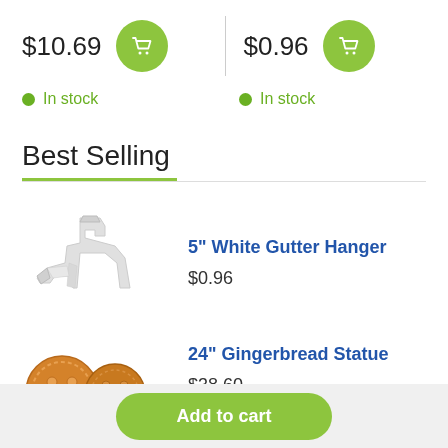$10.69
$0.96
In stock
In stock
Best Selling
[Figure (photo): White plastic 5-inch gutter hanger bracket]
5" White Gutter Hanger
$0.96
[Figure (photo): Two round gingerbread cookie ornaments with smiley faces]
24" Gingerbread Statue
$38.60
Add to cart